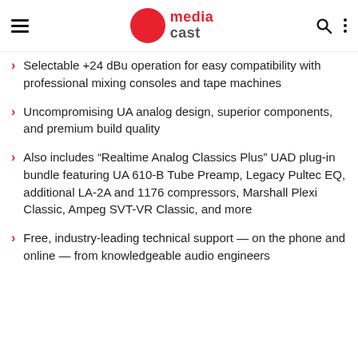media cast
Selectable +24 dBu operation for easy compatibility with professional mixing consoles and tape machines
Uncompromising UA analog design, superior components, and premium build quality
Also includes “Realtime Analog Classics Plus” UAD plug-in bundle featuring UA 610-B Tube Preamp, Legacy Pultec EQ, additional LA-2A and 1176 compressors, Marshall Plexi Classic, Ampeg SVT-VR Classic, and more
Free, industry-leading technical support — on the phone and online — from knowledgeable audio engineers